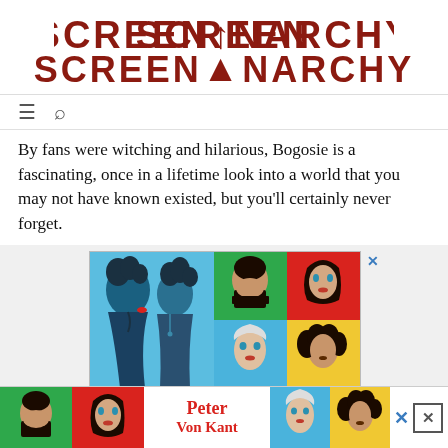SCREENANARCHY
By fans were witching and hilarious, Bogosie is a fascinating, once in a lifetime look into a world that you may not have known existed, but you'll certainly never forget.
[Figure (illustration): Advertisement for 'Peter Von Kant' film featuring pop-art style illustrations: left panel shows two figures in blue with dramatic styling, right panel shows 4 faces in colored boxes (green, red, light blue, yellow). Bottom shows title 'Peter Von Kant' in red with partial text cut off.]
[Figure (illustration): Bottom sticky advertisement bar for 'Peter Von Kant' showing pop-art faces in colored squares with red title text 'Peter Von Kant' in center, close buttons on right.]